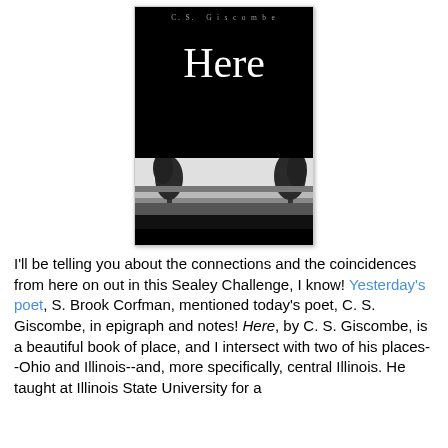[Figure (illustration): Book cover of 'Here' by C.S. Giscombe. Black cover with author name 'C.S. Giscombe' in grey serif letters at top, large white serif title 'Here' in the middle on black background, and a black-and-white landscape image showing trees and a rural scene below.]
I'll be telling you about the connections and the coincidences from here on out in this Sealey Challenge, I know! Yesterday's poet, S. Brook Corfman, mentioned today's poet, C. S. Giscombe, in epigraph and notes! Here, by C. S. Giscombe, is a beautiful book of place, and I intersect with two of his places--Ohio and Illinois--and, more specifically, central Illinois. He taught at Illinois State University for a